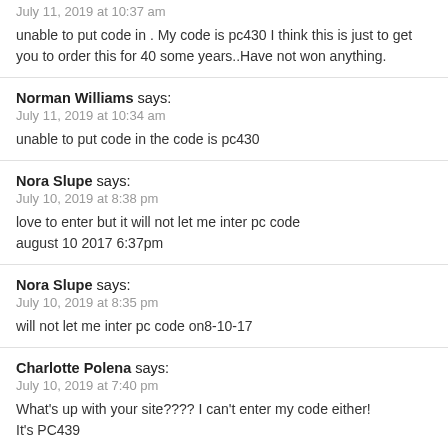July 11, 2019 at 10:37 am
unable to put code in . My code is pc430 I think this is just to get you to order this for 40 some years..Have not won anything.
Norman Williams says:
July 11, 2019 at 10:34 am
unable to put code in the code is pc430
Nora Slupe says:
July 10, 2019 at 8:38 pm
love to enter but it will not let me inter pc code august 10 2017 6:37pm
Nora Slupe says:
July 10, 2019 at 8:35 pm
will not let me inter pc code on8-10-17
Charlotte Polena says:
July 10, 2019 at 7:40 pm
What's up with your site???? I can't enter my code either! It's PC439